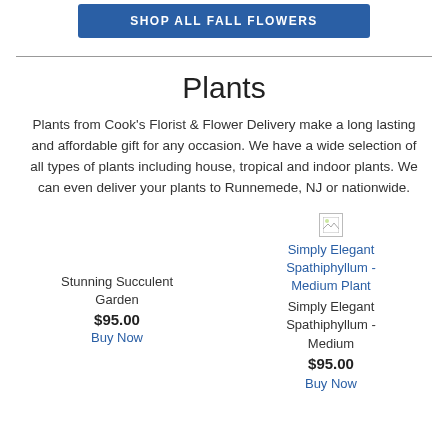[Figure (other): Blue button labeled SHOP ALL FALL FLOWERS]
Plants
Plants from Cook's Florist & Flower Delivery make a long lasting and affordable gift for any occasion. We have a wide selection of all types of plants including house, tropical and indoor plants. We can even deliver your plants to Runnemede, NJ or nationwide.
Stunning Succulent Garden
$95.00
Buy Now
[Figure (photo): Broken image placeholder for Simply Elegant Spathiphyllum - Medium Plant]
Simply Elegant Spathiphyllum - Medium
$95.00
Buy Now